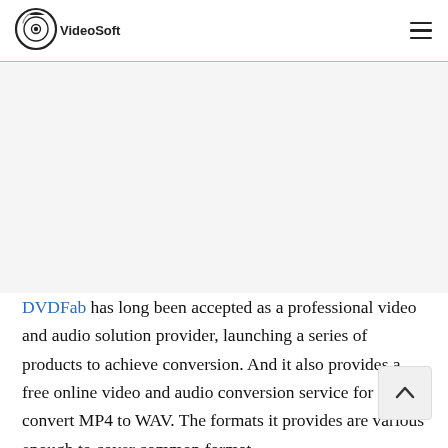VideoSoft
[Figure (other): Advertisement or banner image area (blank/grey placeholder)]
DVDFab has long been accepted as a professional video and audio solution provider, launching a series of products to achieve conversion. And it also provides a free online video and audio conversion service for you to convert MP4 to WAV. The formats it provides are various enough to cover common format